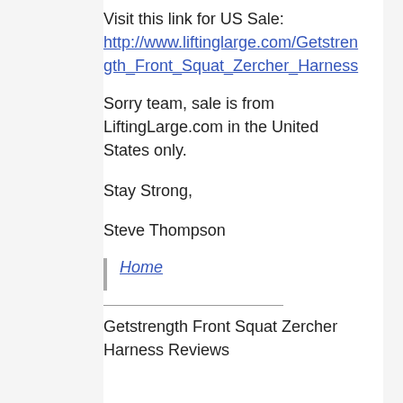Visit this link for US Sale: http://www.liftinglarge.com/Getstrength_Front_Squat_Zercher_Harness
Sorry team, sale is from LiftingLarge.com in the United States only.
Stay Strong,
Steve Thompson
Home
Getstrength Front Squat Zercher Harness Reviews